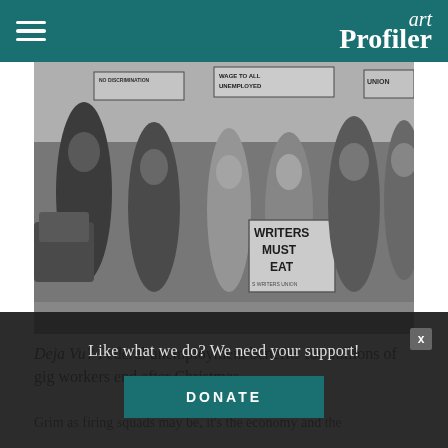art Profiler
[Figure (photo): Black and white historical photograph of a protest march with people carrying signs including 'WRITERS MUST EAT', 'WAGE TO ALL UNEMPLOYED', and other signs. A woman in the foreground holds the 'WRITERS MUST EAT' sign with 'WRITERS UNION' visible at the bottom.]
Deja Vu? Federal unemployment benefits for millions of gig workers end after Christmas.
Grim as firing squads may be, it's the economy and the
Like what we do? We need your support!
DONATE